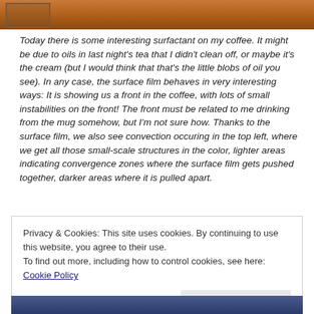[Figure (photo): Top portion of a photograph showing a coffee cup surface with brownish tones and a small framed area in the top left corner]
Today there is some interesting surfactant on my coffee. It might be due to oils in last night's tea that I didn't clean off, or maybe it's the cream (but I would think that that's the little blobs of oil you see). In any case, the surface film behaves in very interesting ways: It is showing us a front in the coffee, with lots of small instabilities on the front! The front must be related to me drinking from the mug somehow, but I'm not sure how. Thanks to the surface film, we also see convection occuring in the top left, where we get all those small-scale structures in the color, lighter areas indicating convergence zones where the surface film gets pushed together, darker areas where it is pulled apart.
Privacy & Cookies: This site uses cookies. By continuing to use this website, you agree to their use.
To find out more, including how to control cookies, see here: Cookie Policy
[Figure (photo): Bottom portion of a photograph showing blue tones, likely the coffee cup from a different angle or another image]